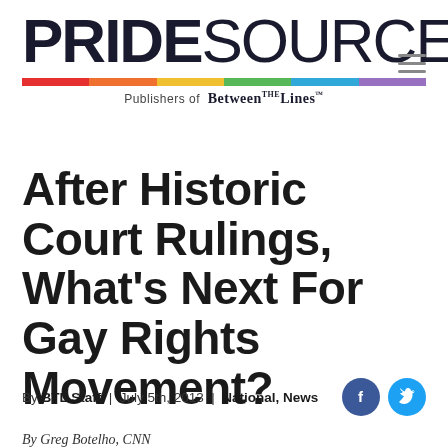PRIDESOURCE — Publishers of Between the Lines
After Historic Court Rulings, What's Next For Gay Rights Movement?
By BTL Staff | July 5th, 2013 | National, News
By Greg Botelho, CNN